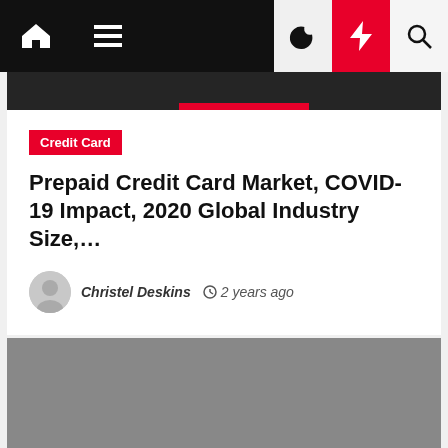Navigation bar with home, menu, moon, bolt, and search icons
[Figure (screenshot): Dark banner image below navigation]
Credit Card
Prepaid Credit Card Market, COVID-19 Impact, 2020 Global Industry Size,...
Christel Deskins  2 years ago
[Figure (photo): Gray placeholder image for article]